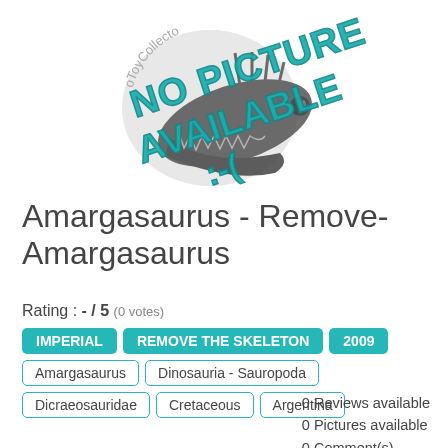[Figure (logo): ToyCollector logo with dinosaur silhouette and 'NO PICTURE AVAILABLE ;-(' overlay text in teal]
Amargasaurus - Remove-Amargasaurus
Rating : - / 5 (0 votes)
IMPERIAL | REMOVE THE SKELETON | 2009
Amargasaurus | Dinosauria - Sauropoda
Dicraeosauridae | Cretaceous | Argentina
0 Reviews available
0 Pictures available
0 Comment(s)